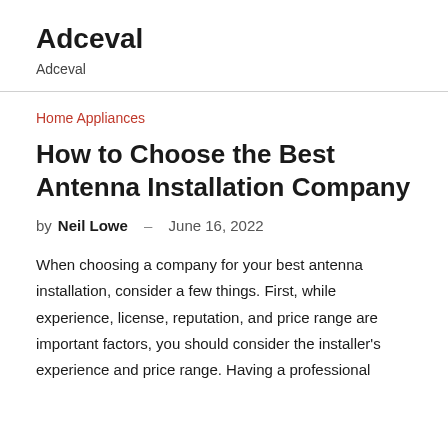Adceval
Adceval
Home Appliances
How to Choose the Best Antenna Installation Company
by Neil Lowe – June 16, 2022
When choosing a company for your best antenna installation, consider a few things. First, while experience, license, reputation, and price range are important factors, you should consider the installer's experience and price range. Having a professional installer means you'll be able to get the most out of